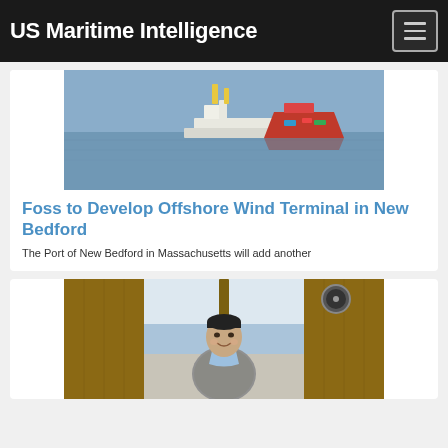US Maritime Intelligence
[Figure (photo): Aerial or water-level photo of an offshore wind support vessel or marine vessel on water, showing red hull and white deck structures]
Foss to Develop Offshore Wind Terminal in New Bedford
The Port of New Bedford in Massachusetts will add another
[Figure (photo): Photo of a man standing inside a boat's wheelhouse, smiling at camera, wearing a grey sweater over a light blue shirt, with water visible through windows behind him]